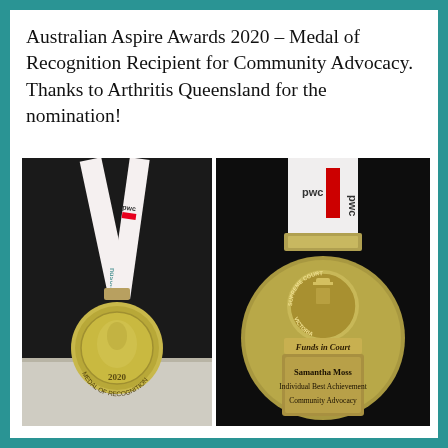Australian Aspire Awards 2020 – Medal of Recognition Recipient for Community Advocacy. Thanks to Arthritis Queensland for the nomination!
[Figure (photo): Two photos of an award medal. Left photo shows the front of a small circular medal dated 2020 with a kangaroo/nature motif, hanging from a white ribbon with 'pwc' and 'ndson' branding. Right photo shows the back of the same medal close-up, featuring a Supreme Court Victoria 'Funds in Court' emblem, and engraved text: 'Samantha Moss Individual Best Achievement Community Advocacy', with the same branded ribbon above.]